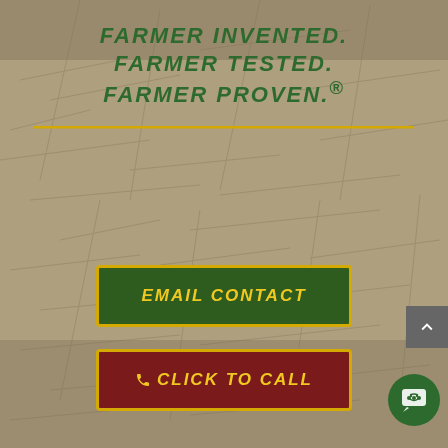FARMER INVENTED.
FARMER TESTED.
FARMER PROVEN.®
[Figure (other): EMAIL CONTACT button — dark green rectangle with yellow border and yellow italic text]
[Figure (other): CLICK TO CALL button — dark red rectangle with yellow border, phone icon, and yellow italic text]